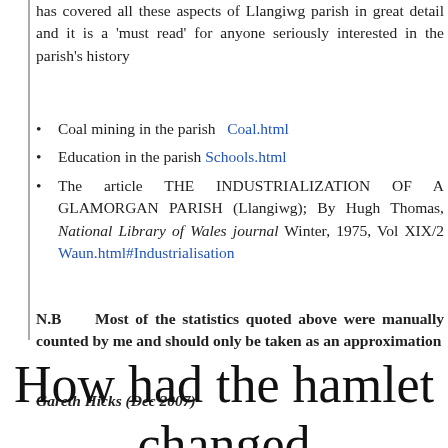has covered all these aspects of Llangiwg parish in great detail and it is a 'must read' for anyone seriously interested in the parish's history
Coal mining in the parish  Coal.html
Education in the parish Schools.html
The article THE INDUSTRIALIZATION OF A GLAMORGAN PARISH (Llangiwg); By Hugh Thomas, National Library of Wales journal Winter, 1975, Vol XIX/2 Waun.html#Industrialisation
N.B    Most of the statistics quoted above were manually counted by me and should only be taken as an approximation
Gareth Hicks (Dec 2007)
How had the hamlet changed by 1891 ?